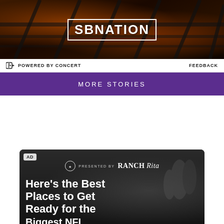[Figure (photo): SBNation logo over dark grill/BBQ background image]
POWERED BY CONCERT   FEEDBACK
MORE STORIES
[Figure (photo): AD - Ranch Rita sponsored card: Here's the Best Places to Get Ready for the Biggest NFL...]